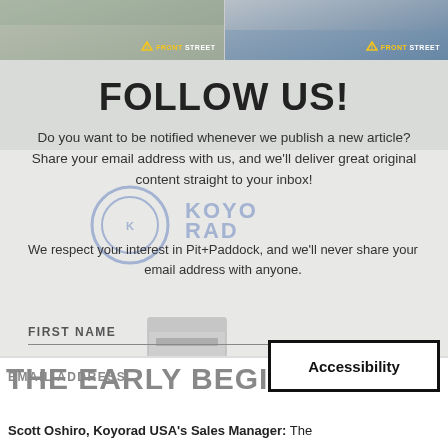[Figure (photo): Top strip with two building photos, both with FrontStreet logo overlay]
[Figure (photo): Background photo of Koyorad building exterior with semi-transparent white overlay showing a newsletter signup form]
FOLLOW US!
Do you want to be notified whenever we publish a new article? Share your email address with us, and we'll deliver great original content straight to your inbox!
We respect your interest in Pit+Paddock, and we'll never share your email address with anyone.
FIRST NAME
LAST NAME
EMAIL ADDRESS
THE EARLY BEGIN...
Scott Oshiro, Koyorad USA's Sales Manager: The
Accessibility